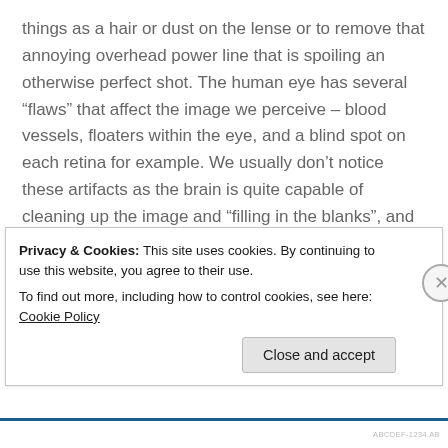things as a hair or dust on the lense or to remove that annoying overhead power line that is spoiling an otherwise perfect shot. The human eye has several “flaws” that affect the image we perceive – blood vessels, floaters within the eye, and a blind spot on each retina for example. We usually don’t notice these artifacts as the brain is quite capable of cleaning up the image and “filling in the blanks”, and we aren’t even aware of it happening.
I’m not a neurologist, so the following explanation is only an approximation of what I think happens but it does describe my experience. Many migraineurs experience
Privacy & Cookies: This site uses cookies. By continuing to use this website, you agree to their use.
To find out more, including how to control cookies, see here: Cookie Policy
Close and accept
ABCDEF-1234 AB